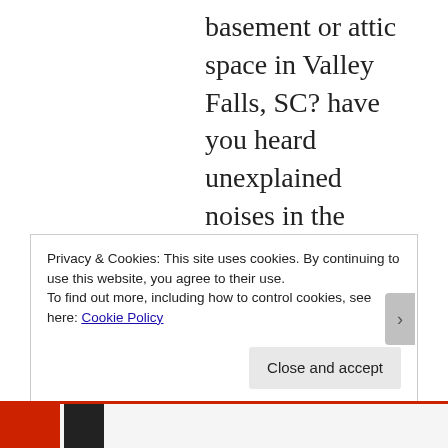basement or attic space in Valley Falls, SC? have you heard unexplained noises in the chimney? smelling foul odors that may be a skunk under your house or in the crawlspace and heating ducts Valley Falls, SC? Do you need bat removal from your home? Do you need bat control Valley Falls, SC? do you have
Privacy & Cookies: This site uses cookies. By continuing to use this website, you agree to their use.
To find out more, including how to control cookies, see here: Cookie Policy